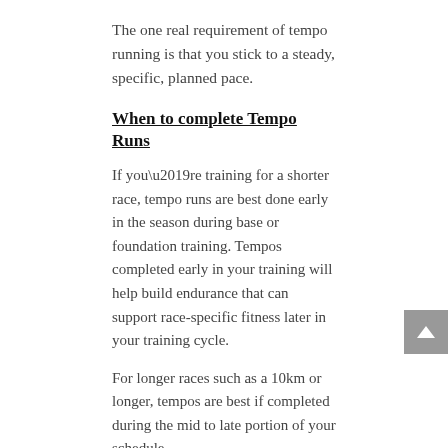The one real requirement of tempo running is that you stick to a steady, specific, planned pace.
When to complete Tempo Runs
If you’re training for a shorter race, tempo runs are best done early in the season during base or foundation training. Tempos completed early in your training will help build endurance that can support race-specific fitness later in your training cycle.
For longer races such as a 10km or longer, tempos are best if completed during the mid to late portion of your schedule.
Some coaches have their runners perform two of these workouts every three weeks during a marathon build-up. As the race approaches (but before tapering) the runner can increase the frequency to one tempo effort weekly. I typically perscribe weekly tempos in weeks 7-11 of a 12 week marathon